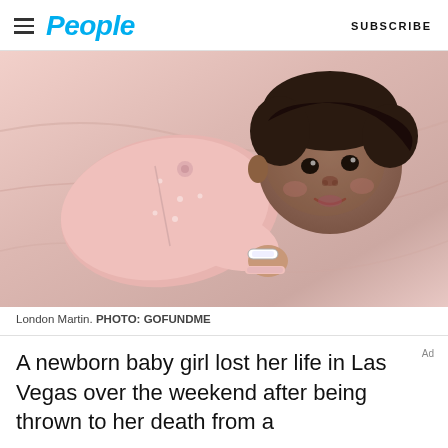People | SUBSCRIBE
[Figure (photo): Photo of newborn baby London Martin lying on a pink bed, wearing a pink onesie with floral details. Baby has dark hair and is looking toward the camera.]
London Martin. PHOTO: GOFUNDME
A newborn baby girl lost her life in Las Vegas over the weekend after being thrown to her death from a